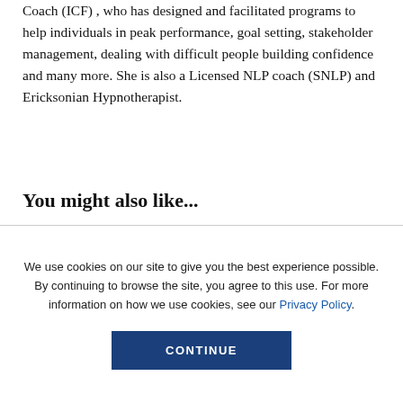Coach (ICF) , who has designed and facilitated programs to help individuals in peak performance, goal setting, stakeholder management, dealing with difficult people building confidence and many more. She is also a Licensed NLP coach (SNLP) and Ericksonian Hypnotherapist.
You might also like...
We use cookies on our site to give you the best experience possible. By continuing to browse the site, you agree to this use. For more information on how we use cookies, see our Privacy Policy.
CONTINUE